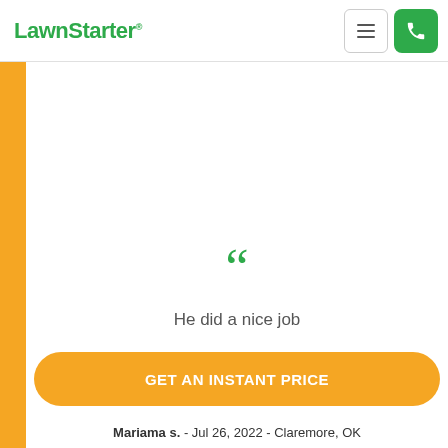LawnStarter
[Figure (illustration): Large green open-quote/double-quote mark centered on white background]
He did a nice job
[Figure (illustration): Five gold/orange star rating icons in a row]
GET AN INSTANT PRICE
Mariama s. - Jul 26, 2022 - Claremore, OK